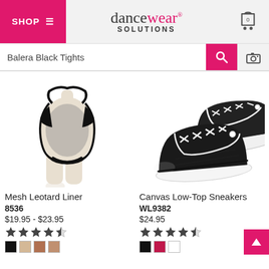SHOP ≡ | dancewear SOLUTIONS | Cart: 0
Balera Black Tights
[Figure (photo): Mesh Leotard Liner product photo on mannequin, showing a black mesh and nude sleeveless leotard]
[Figure (photo): Canvas Low-Top Sneakers product photo, two black canvas sneakers with white laces and white soles]
Mesh Leotard Liner
8536
$19.95 - $23.95
★★★★☆ (4.5 stars)
Color swatches: black, nude/tan, brown, light brown
Canvas Low-Top Sneakers
WL9382
$24.95
★★★★☆ (4.5 stars)
Color swatches: black, pink/magenta, white